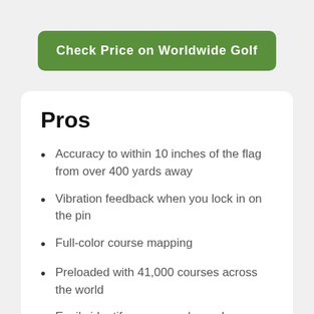[Figure (other): Green rounded rectangle button with white text 'Check Price on Worldwide Golf']
Pros
Accuracy to within 10 inches of the flag from over 400 yards away
Vibration feedback when you lock in on the pin
Full-color course mapping
Preloaded with 41,000 courses across the world
Easily identify on-course hazards